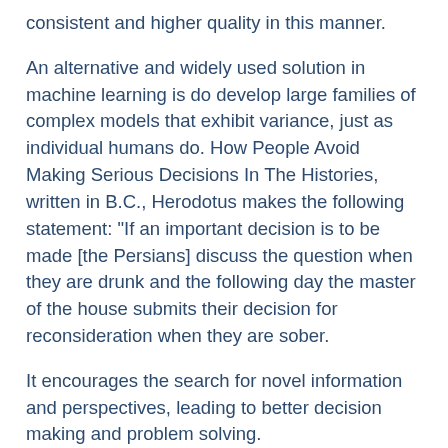consistent and higher quality in this manner.
An alternative and widely used solution in machine learning is do develop large families of complex models that exhibit variance, just as individual humans do. How People Avoid Making Serious Decisions In The Histories, written in B.C., Herodotus makes the following statement: "If an important decision is to be made [the Persians] discuss the question when they are drunk and the following day the master of the house submits their decision for reconsideration when they are sober.
It encourages the search for novel information and perspectives, leading to better decision making and problem solving.
Diversity and Management